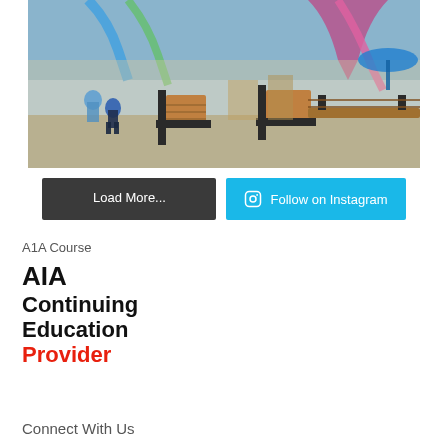[Figure (photo): Indoor water park with water slides, play structures, people in swimwear, and outdoor furniture (chairs and table) in the foreground]
Load More...
Follow on Instagram
A1A Course
[Figure (logo): AIA Continuing Education Provider logo with bold black text and red 'Provider' text]
Connect With Us